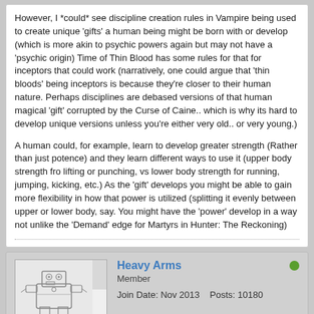However, I *could* see discipline creation rules in Vampire being used to create unique 'gifts' a human being might be born with or develop (which is more akin to psychic powers again but may not have a 'psychic origin) Time of Thin Blood has some rules for that for inceptors that could work (narratively, one could argue that 'thin bloods' being inceptors is because they're closer to their human nature. Perhaps disciplines are debased versions of that human magical 'gift' corrupted by the Curse of Caine.. which is why its hard to develop unique versions unless you're either very old.. or very young.)
A human could, for example, learn to develop greater strength (Rather than just potence) and they learn different ways to use it (upper body strength fro lifting or punching, vs lower body strength for running, jumping, kicking, etc.) As the 'gift' develops you might be able to gain more flexibility in how that power is utilized (splitting it evenly between upper or lower body, say. You might have the 'power' develop in a way not unlike the 'Demand' edge for Martyrs in Hunter: The Reckoning)
Heavy Arms
Member
Join Date: Nov 2013    Posts: 10180
01-26-2021, 06:34 PM    #15